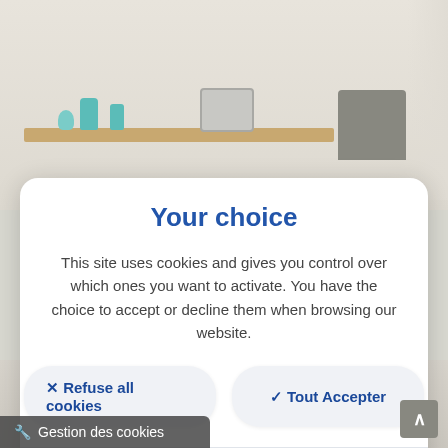[Figure (screenshot): Background image of a light-colored room interior with furniture, decorative vases, a monitor on a wooden shelf, grey chairs, and white curtains. Cookie consent modal dialog overlaid on the room photo.]
Your choice
This site uses cookies and gives you control over which ones you want to activate. You have the choice to accept or decline them when browsing our website.
✕ Refuse all cookies
✓ Tout Accepter
Customize
🔧 Gestion des cookies